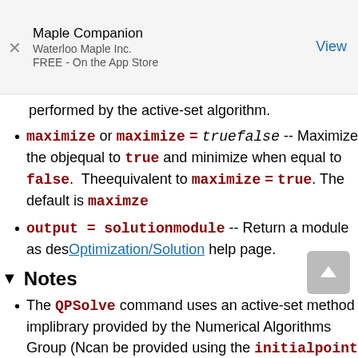Maple Companion
Waterloo Maple Inc.
FREE - On the App Store
performed by the active-set algorithm.
maximize or maximize = truefalse -- Maximize the objective function when equal to true and minimize when equal to false. The maximize option is equivalent to maximize = true. The default is maximize...
output = solutionmodule -- Return a module as described in the Optimization/Solution help page.
Notes
The QPSolve command uses an active-set method implemented in a library provided by the Numerical Algorithms Group (N... An initial point can be provided using the initialpoint option. Othe... used.
The computation is performed in floating-point. There... must have type realcons and all returned solutions are... the problem is specified with exact values. For best...